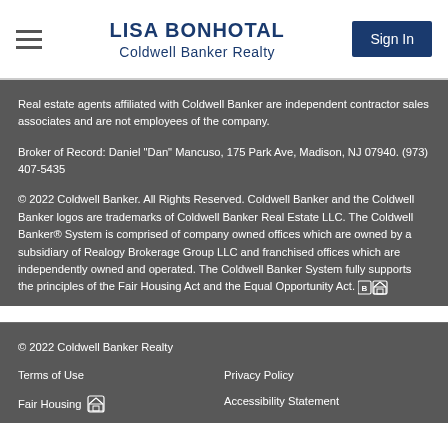LISA BONHOTAL Coldwell Banker Realty
Real estate agents affiliated with Coldwell Banker are independent contractor sales associates and are not employees of the company.
Broker of Record: Daniel "Dan" Mancuso, 175 Park Ave, Madison, NJ 07940. (973) 407-5435
© 2022 Coldwell Banker. All Rights Reserved. Coldwell Banker and the Coldwell Banker logos are trademarks of Coldwell Banker Real Estate LLC. The Coldwell Banker® System is comprised of company owned offices which are owned by a subsidiary of Realogy Brokerage Group LLC and franchised offices which are independently owned and operated. The Coldwell Banker System fully supports the principles of the Fair Housing Act and the Equal Opportunity Act.
© 2022 Coldwell Banker Realty
Terms of Use
Privacy Policy
Fair Housing
Accessibility Statement